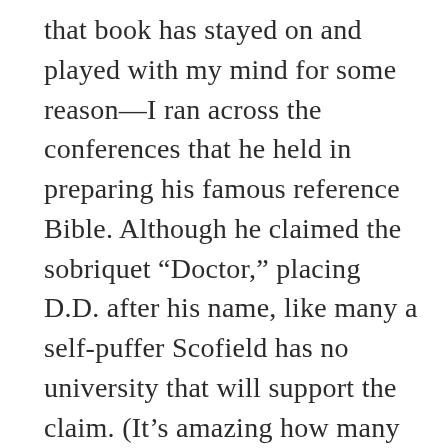that book has stayed on and played with my mind for some reason—I ran across the conferences that he held in preparing his famous reference Bible. Although he claimed the sobriquet “Doctor,” placing D.D. after his name, like many a self-puffer Scofield has no university that will support the claim. (It’s amazing how many high-level CEOs and “important” businessmen pad their